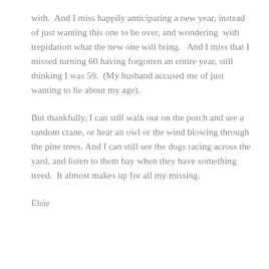with.  And I miss happily anticipating a new year, instead of just wanting this one to be over, and wondering  with trepidation what the new one will bring.   And I miss that I missed turning 60 having forgotten an entire year, still thinking I was 59.  (My husband accused me of just wanting to lie about my age).
But thankfully, I can still walk out on the porch and see a random crane, or hear an owl or the wind blowing through the pine trees. And I can still see the dogs racing across the yard, and listen to them bay when they have something treed.  It almost makes up for all my missing.
Elsie